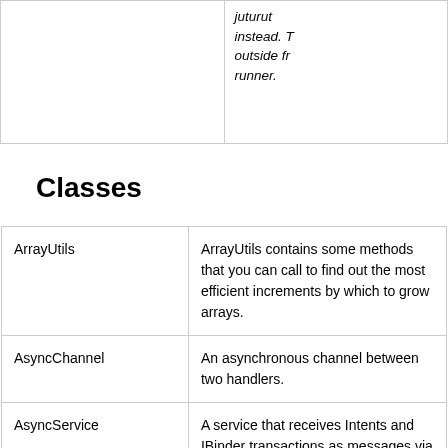|  |  |
| --- | --- |
|  | instead. T outside fr runner. |
Classes
|  |  |
| --- | --- |
| ArrayUtils | ArrayUtils contains some methods that you can call to find out the most efficient increments by which to grow arrays. |
| AsyncChannel | An asynchronous channel between two handlers. |
| AsyncService | A service that receives Intents and IBinder transactions as messages via an AsyncChannel. |
|  |  |